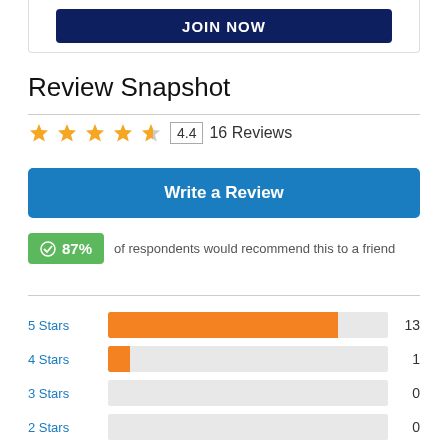[Figure (other): JOIN NOW button in dark navy blue]
Review Snapshot
[Figure (other): Star rating: 4.4 out of 5 stars, 16 Reviews]
[Figure (other): Write a Review button in blue]
87% of respondents would recommend this to a friend
[Figure (bar-chart): Star Ratings Distribution]